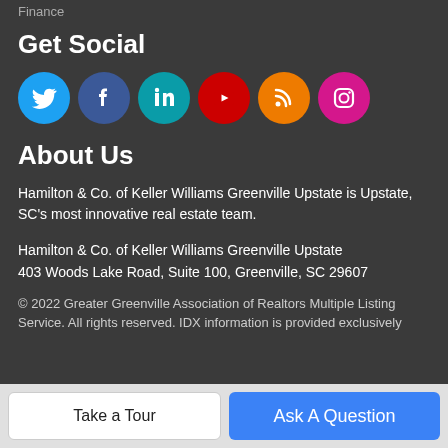Finance
Get Social
[Figure (illustration): Six social media icon buttons: Twitter (blue), Facebook (dark blue), LinkedIn (teal), YouTube (red), RSS (orange), Instagram (pink)]
About Us
Hamilton & Co. of Keller Williams Greenville Upstate is Upstate, SC's most innovative real estate team.
Hamilton & Co. of Keller Williams Greenville Upstate
403 Woods Lake Road, Suite 100, Greenville, SC 29607
© 2022 Greater Greenville Association of Realtors Multiple Listing Service. All rights reserved. IDX information is provided exclusively
Take a Tour   Ask A Question